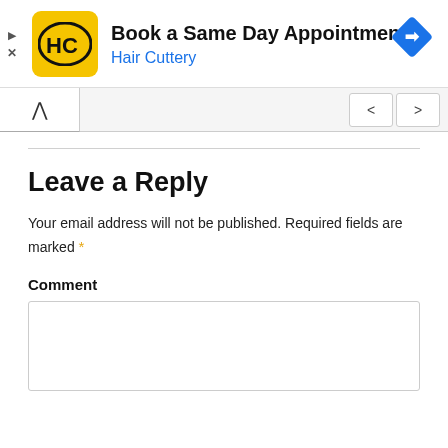[Figure (screenshot): Hair Cuttery advertisement banner with yellow logo showing HC letters, title 'Book a Same Day Appointment', subtitle 'Hair Cuttery' in blue, and a blue diamond navigation icon on the right. Play and close controls on lower left.]
[Figure (screenshot): Browser navigation bar with up caret button on left, back and forward arrow buttons on right side.]
Leave a Reply
Your email address will not be published. Required fields are marked *
Comment